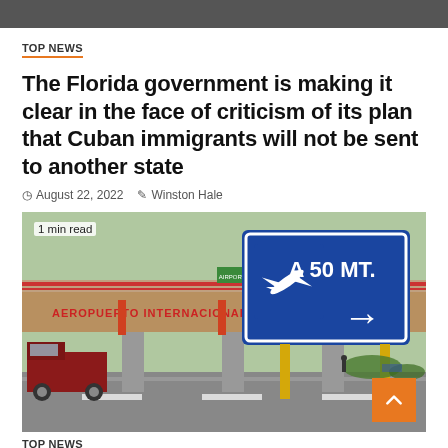TOP NEWS
The Florida government is making it clear in the face of criticism of its plan that Cuban immigrants will not be sent to another state
August 22, 2022   Winston Hale
[Figure (photo): Photograph of an international airport sign reading 'A 50 MT.' with an airplane symbol and arrow, and a bridge in the background with 'Aeropuerto Internacional Del...' written on it. A red truck is visible in the foreground. '1 min read' label in top left.]
TOP NEWS